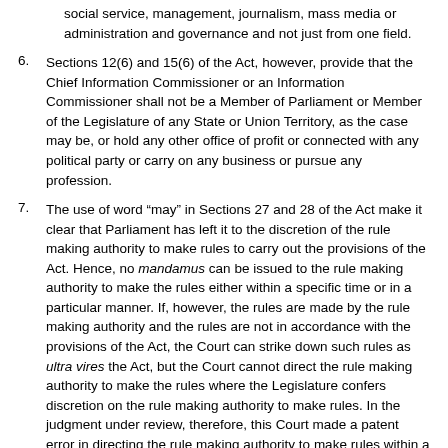social service, management, journalism, mass media or administration and governance and not just from one field.
6. Sections 12(6) and 15(6) of the Act, however, provide that the Chief Information Commissioner or an Information Commissioner shall not be a Member of Parliament or Member of the Legislature of any State or Union Territory, as the case may be, or hold any other office of profit or connected with any political party or carry on any business or pursue any profession.
7. The use of word “may” in Sections 27 and 28 of the Act make it clear that Parliament has left it to the discretion of the rule making authority to make rules to carry out the provisions of the Act. Hence, no mandamus can be issued to the rule making authority to make the rules either within a specific time or in a particular manner. If, however, the rules are made by the rule making authority and the rules are not in accordance with the provisions of the Act, the Court can strike down such rules as ultra vires the Act, but the Court cannot direct the rule making authority to make the rules where the Legislature confers discretion on the rule making authority to make rules. In the judgment under review, therefore, this Court made a patent error in directing the rule making authority to make rules within a period of six months.
8. The selection and appointment of Chief Information Commissioner and Information Commissioners has not been left entirely to the discretion of the Central Government and the State Government under Sections 12 and 15 of the Act. Sections 12(3) and 15(3) provide that the Chief Information Commissioner and Information Commissioners shall be appointed by the President